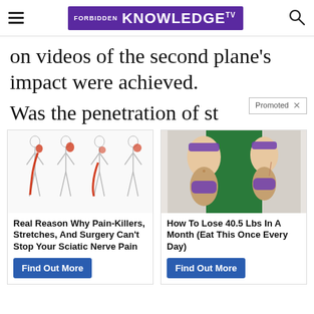FORBIDDEN KNOWLEDGE TV
on videos of the second plane's impact were achieved.
Was the penetration of st
[Figure (illustration): Medical illustration of four human body silhouettes showing sciatic nerve pain highlighted in red running down the leg and hip area]
Real Reason Why Pain-Killers, Stretches, And Surgery Can't Stop Your Sciatic Nerve Pain
Find Out More
[Figure (photo): Before and after illustration of a woman's midsection showing weight loss transformation, wearing purple bikini bottoms]
How To Lose 40.5 Lbs In A Month (Eat This Once Every Day)
Find Out More